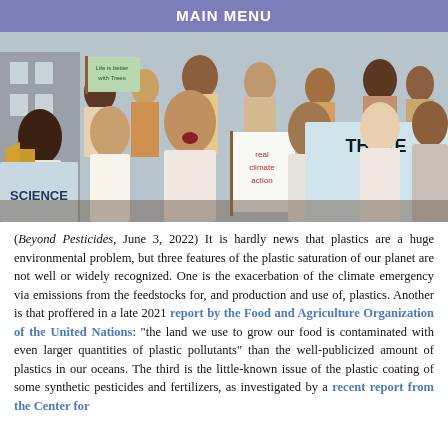MAIN MENU
[Figure (photo): A crowd of protesters marching and shouting, holding signs including 'Life is better with Trees', 'SCIENCE', 'real climate action', and 'THERE IS NO'. One protester holds a megaphone/bullhorn.]
(Beyond Pesticides, June 3, 2022) It is hardly news that plastics are a huge environmental problem, but three features of the plastic saturation of our planet are not well or widely recognized. One is the exacerbation of the climate emergency via emissions from the feedstocks for, and production and use of, plastics. Another is that proffered in a late 2021 report by the Food and Agriculture Organization of the United Nations: “the land we use to grow our food is contaminated with even larger quantities of plastic pollutants” than the well-publicized amount of plastics in our oceans. The third is the little-known issue of the plastic coating of some synthetic pesticides and fertilizers, as investigated by a recent report from the Center for